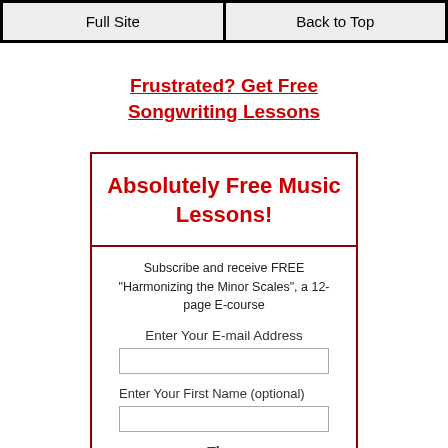Full Site | Back to Top
Frustrated? Get Free Songwriting Lessons
Absolutely Free Music Lessons!
Subscribe and receive FREE "Harmonizing the Minor Scales", a 12-page E-course
Enter Your E-mail Address
Enter Your First Name (optional)
Then
Subscribe
Don't worry — your e-mail address